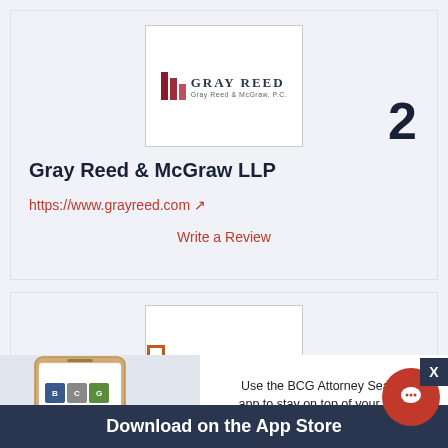[Figure (logo): Gray Reed & McGraw LLP logo with three vertical bars in red/maroon and firm name]
2
Gray Reed & McGraw LLP
https://www.grayreed.com ↗
Write a Review
[Figure (logo): Griffith Davison logo with orange rectangular icon and firm name]
[Figure (illustration): BCG Attorney Search mobile app advertisement with phone image showing app, text about legal job search, and download button]
Use the BCG Attorney Search app to stay on top of your legal job search wherever you
Download on the App Store